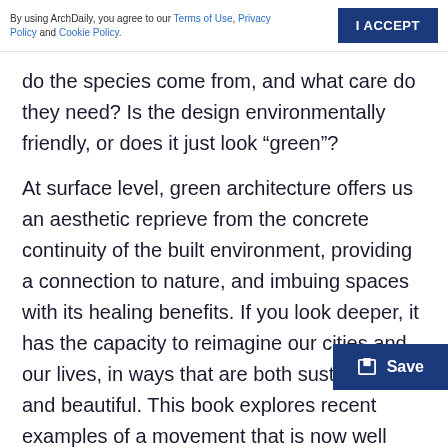By using ArchDaily, you agree to our Terms of Use, Privacy Policy and Cookie Policy. | I ACCEPT
do the species come from, and what care do they need? Is the design environmentally friendly, or does it just look “green”?
At surface level, green architecture offers us an aesthetic reprieve from the concrete continuity of the built environment, providing a connection to nature, and imbuing spaces with its healing benefits. If you look deeper, it has the capacity to reimagine our cities and our lives, in ways that are both sustainable and beautiful. This book explores recent examples of a movement that is now well underway and provides glimpses of possible futures where—as… wrote of ancient Babylon—towers resembling tre… mountains populate the skyline.